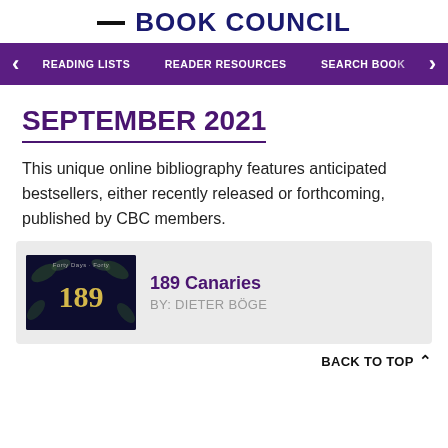BOOK COUNCIL
READING LISTS  READER RESOURCES  SEARCH BOOKS
SEPTEMBER 2021
This unique online bibliography features anticipated bestsellers, either recently released or forthcoming, published by CBC members.
[Figure (illustration): Book cover for '189 Canaries' showing dark background with golden leaves and the number 189 in gold text, with small text above reading 'Forty Days + Forty']
189 Canaries
BY: Dieter Böge
BACK TO TOP